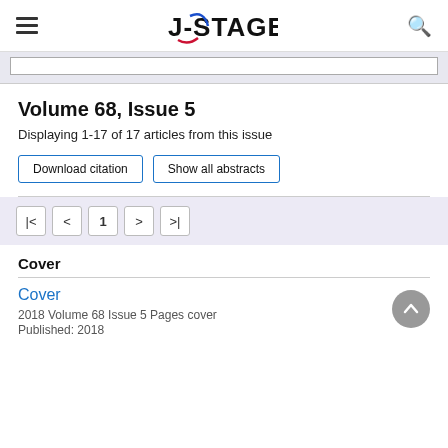J-STAGE
Volume 68, Issue 5
Displaying 1-17 of 17 articles from this issue
Download citation | Show all abstracts
| < 1 > >|
Cover
Cover
2018 Volume 68 Issue 5 Pages cover
Published: 2018